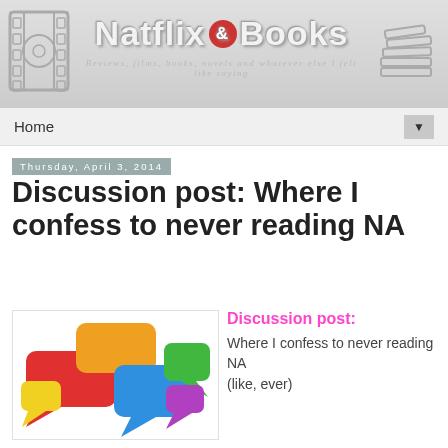Natflix & Books — Reviews, films, books, novels and whatever else I felt like saying
Home
Thursday, April 3, 2014
Discussion post: Where I confess to never reading NA
[Figure (illustration): Colorful speech bubble icons in red, orange, blue, green, and other colors clustered together, representing discussion]
Discussion post:
Where I confess to never reading NA
(like, ever)